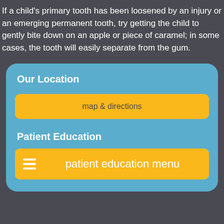If a child's primary tooth has been loosened by an injury or an emerging permanent tooth, try getting the child to gently bite down on an apple or piece of caramel; in some cases, the tooth will easily separate from the gum.
Our Location
[Figure (other): Yellow button labeled 'map & directions']
Patient Education
[Figure (other): Yellow button with hamburger menu icon and text 'patient education menu']